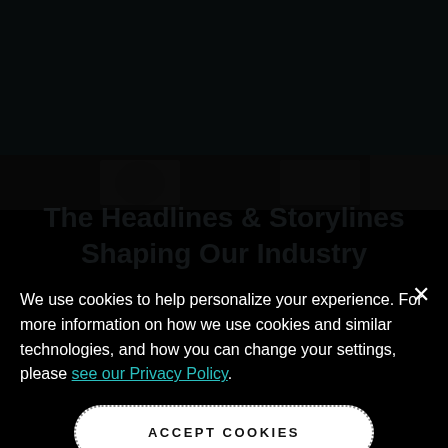EVERSANA INTOUCH | MENU
The Headlines & Storylines Shaping Our Industry
We use cookies to help personalize your experience. For more information on how we use cookies and similar technologies, and how you can change your settings, please see our Privacy Policy.
ACCEPT COOKIES
PRESS